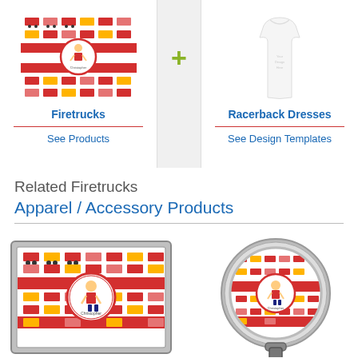[Figure (screenshot): Firetrucks design product thumbnail - square image with red firetrucks pattern and circular firefighter logo in center]
Firetrucks
See Products
[Figure (screenshot): White racerback dress product thumbnail]
Racerback Dresses
See Design Templates
Related Firetrucks
Apparel / Accessory Products
[Figure (screenshot): Firetrucks design on a silver framed rectangle/desk plaque product]
[Figure (screenshot): Firetrucks design on a circular badge reel/retractable ID badge holder]